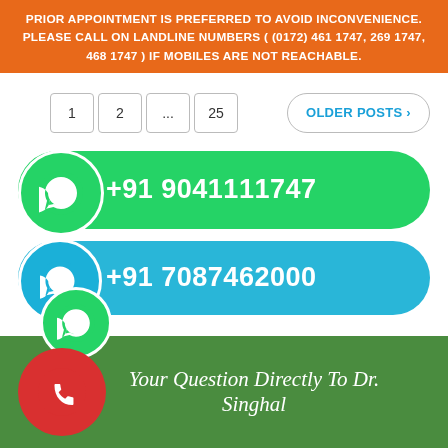PRIOR APPOINTMENT IS PREFERRED TO AVOID INCONVENIENCE. PLEASE CALL ON LANDLINE NUMBERS ( (0172) 461 1747, 269 1747, 468 1747 ) IF MOBILES ARE NOT REACHABLE.
1  2  ...  25  OLDER POSTS
[Figure (infographic): Green WhatsApp button showing phone number +91 9041111747]
[Figure (infographic): Blue phone button showing phone number +91 7087462000 with overlapping WhatsApp icons]
[Figure (infographic): Green banner with red phone circle and text 'Your Question Directly To Dr. Singhal']